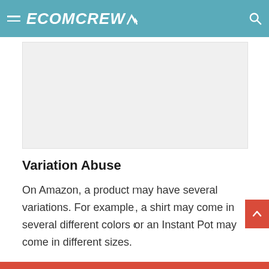ECOMCREW
[Figure (other): Blank/placeholder image area with light gray background]
Variation Abuse
On Amazon, a product may have several variations. For example, a shirt may come in several different colors or an Instant Pot may come in different sizes.